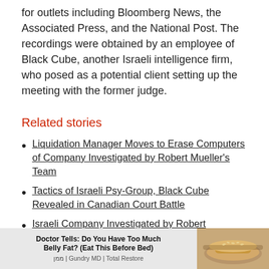for outlets including Bloomberg News, the Associated Press, and the National Post. The recordings were obtained by an employee of Black Cube, another Israeli intelligence firm, who posed as a potential client setting up the meeting with the former judge.
Related stories
Liquidation Manager Moves to Erase Computers of Company Investigated by Robert Mueller's Team
Tactics of Israeli Psy-Group, Black Cube Revealed in Canadian Court Battle
Israeli Company Investigated by Robert Mueller's Team Shuts Down
As part of its liquidation process, Psy-Group's servers and computers passed into the hands of Israeli
[Figure (infographic): Advertisement banner: 'Doctor Tells: Do You Have Too Much Belly Fat? (Eat This Before Bed)' with image of food on right side. Source: Gundry MD | Total Restore]